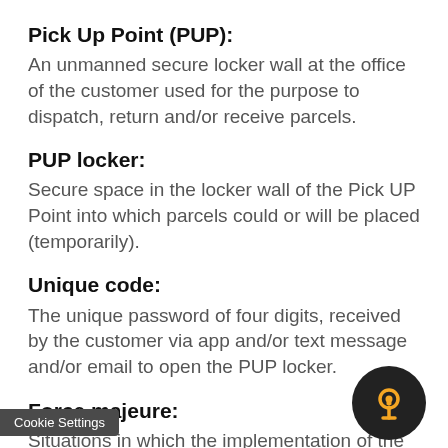Pick Up Point (PUP):
An unmanned secure locker wall at the office of the customer used for the purpose to dispatch, return and/or receive parcels.
PUP locker:
Secure space in the locker wall of the Pick UP Point into which parcels could or will be placed (temporarily).
Unique code:
The unique password of four digits, received by the customer via app and/or text message and/or email to open the PUP locker.
Force majeure:
Situations in which the implementation of the